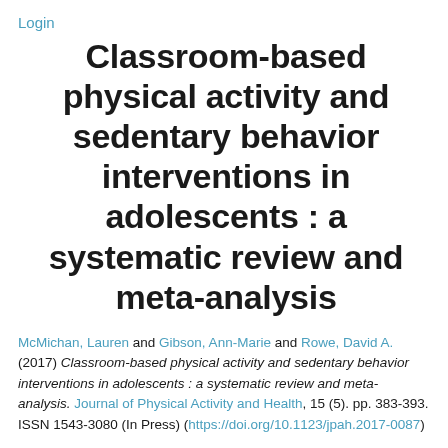Login
Classroom-based physical activity and sedentary behavior interventions in adolescents : a systematic review and meta-analysis
McMichan, Lauren and Gibson, Ann-Marie and Rowe, David A. (2017) Classroom-based physical activity and sedentary behavior interventions in adolescents : a systematic review and meta-analysis. Journal of Physical Activity and Health, 15 (5). pp. 383-393. ISSN 1543-3080 (In Press) (https://doi.org/10.1123/jpah.2017-0087)